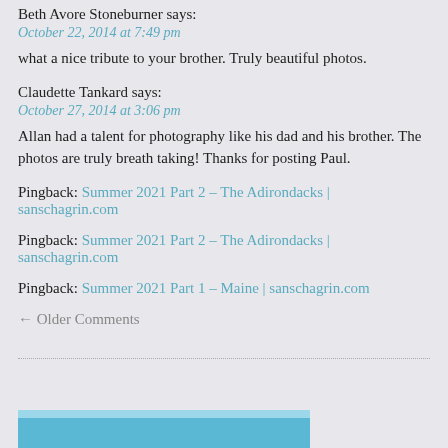Beth Avore Stoneburner says:
October 22, 2014 at 7:49 pm
what a nice tribute to your brother. Truly beautiful photos.
Claudette Tankard says:
October 27, 2014 at 3:06 pm
Allan had a talent for photography like his dad and his brother. The photos are truly breath taking! Thanks for posting Paul.
Pingback: Summer 2021 Part 2 – The Adirondacks | sanschagrin.com
Pingback: Summer 2021 Part 2 – The Adirondacks | sanschagrin.com
Pingback: Summer 2021 Part 1 – Maine | sanschagrin.com
← Older Comments
[Figure (photo): Partial view of a photo strip at the bottom of the page showing a blue sky or water scene]